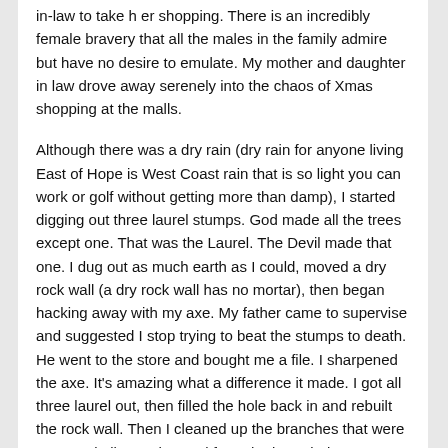in-law to take her shopping. There is an incredibly female bravery that all the males in the family admire but have no desire to emulate. My mother and daughter in law drove away serenely into the chaos of Xmas shopping at the malls.
Although there was a dry rain (dry rain for anyone living East of Hope is West Coast rain that is so light you can work or golf without getting more than damp), I started digging out three laurel stumps. God made all the trees except one. That was the Laurel. The Devil made that one. I dug out as much earth as I could, moved a dry rock wall (a dry rock wall has no mortar), then began hacking away with my axe. My father came to supervise and suggested I stop trying to beat the stumps to death. He went to the store and bought me a file. I sharpened the axe. It's amazing what a difference it made. I got all three laurel out, then filled the hole back in and rebuilt the rock wall. Then I cleaned up the branches that were scattered all over the yard from the last wind storm.
That's when my daughter and her family turned up. I wont